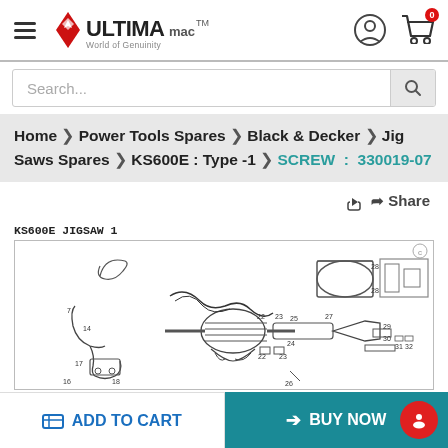ULTIMA mac™ — World of Genuinity
Search...
Home > Power Tools Spares > Black & Decker > Jig Saws Spares > KS600E : Type -1 > SCREW : 330019-07
Share
KS600E JIGSAW 1
[Figure (engineering-diagram): Exploded parts diagram of the KS600E Jigsaw, showing numbered components including motor, housing, blade guide, base plate, and associated screws and fittings.]
ADD TO CART
BUY NOW